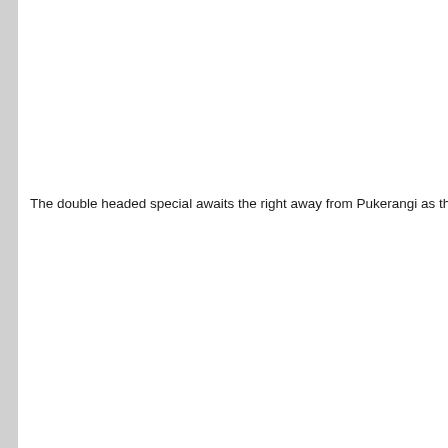The double headed special awaits the right away from Pukerangi as the s